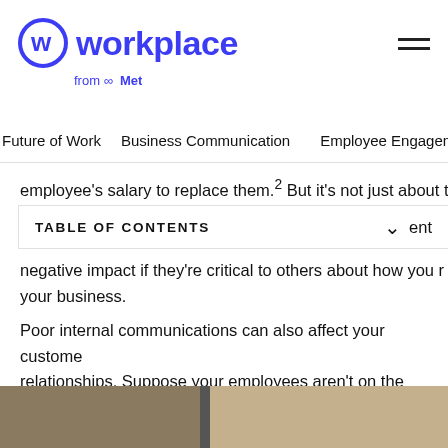Workplace from Meta
Future of Work | Business Communication | Employee Engagement
employee's salary to replace them.2 But it's not just about th
TABLE OF CONTENTS
negative impact if they're critical to others about how you r your business.
Poor internal communications can also affect your customer relationships. Suppose your employees aren't on the same page or they're unclear about key messaging and company values. In that case, the customer service they deliver will probably be inconsistent and even harmful to your brand.
[Figure (photo): Two-panel photo strip at bottom of page showing people in workplace settings]